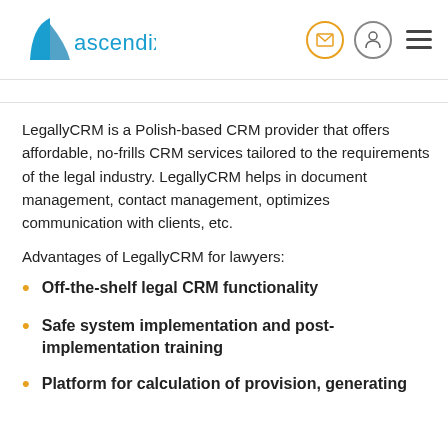[Figure (logo): Ascendix logo with blue stylized sail/triangle shape and 'ascendix' text in blue]
LegallyCRM is a Polish-based CRM provider that offers affordable, no-frills CRM services tailored to the requirements of the legal industry. LegallyCRM helps in document management, contact management, optimizes communication with clients, etc.
Advantages of LegallyCRM for lawyers:
Off-the-shelf legal CRM functionality
Safe system implementation and post-implementation training
Platform for calculation of provision, generating